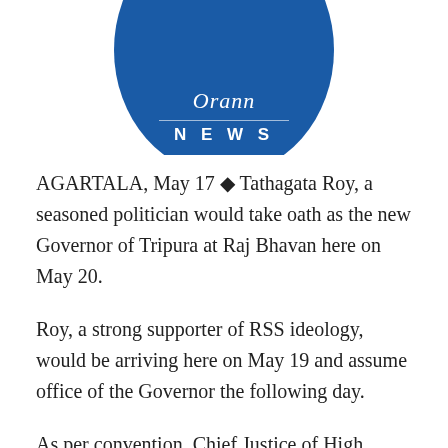[Figure (logo): Circular blue news organization logo with brand name and NEWS text]
AGARTALA, May 17 ◆ Tathagata Roy, a seasoned politician would take oath as the new Governor of Tripura at Raj Bhavan here on May 20.
Roy, a strong supporter of RSS ideology, would be arriving here on May 19 and assume office of the Governor the following day.
As per convention, Chief Justice of High Court of Tripura